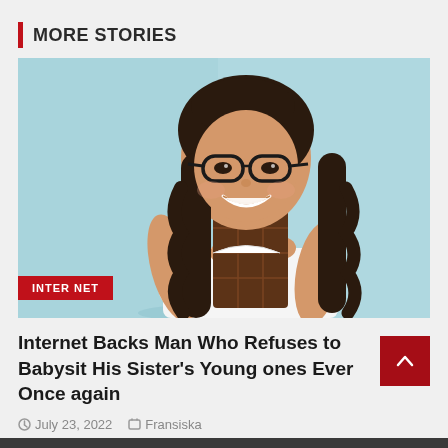MORE STORIES
[Figure (photo): Young girl with long dark wavy hair and black-rimmed glasses, smiling and holding a chocolate bar up to her face, wearing a white top, against a light blue background. Red badge labeled 'INTERNET' overlaid at bottom left.]
Internet Backs Man Who Refuses to Babysit His Sister's Young ones Ever Once again
July 23, 2022   Fransiska